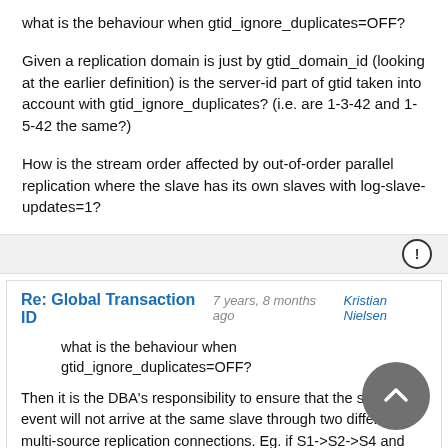what is the behaviour when gtid_ignore_duplicates=OFF?
Given a replication domain is just by gtid_domain_id (looking at the earlier definition) is the server-id part of gtid taken into account with gtid_ignore_duplicates? (i.e. are 1-3-42 and 1-5-42 the same?)
How is the stream order affected by out-of-order parallel replication where the slave has its own slaves with log-slave-updates=1?
Re: Global Transaction ID
7 years, 8 months ago  Kristian Nielsen
what is the behaviour when gtid_ignore_duplicates=OFF?
Then it is the DBA's responsibility to ensure that the same event will not arrive at the same slave through two different multi-source replication connections. Eg. if S1->S2->S4 and S1->S3->S4, then each S1 event could be applied twice on S4 unless something like ignore_server_ids is used on S4. Same as normal replication.
Given a replication domain is just by gtid_domain_id (looking at the earlier definition) is the server-id part of gtid